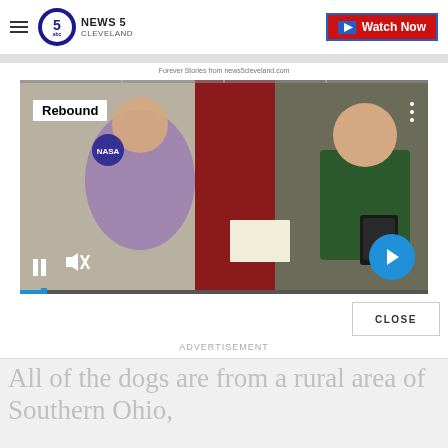NEWS 5 CLEVELAND — Watch Now
Forever Stories from news5cleveland.com
[Figure (screenshot): Video player showing two people in an indoor setting, one in a dark green polo shirt holding a tablet, one in a purple shirt. A NASA poster is visible in the background. Controls include pause, mute, and next arrow buttons. 'Rebound' badge shown in upper left.]
CLOSE
ADVERTISEMENT
All of the dogs are from a rural area of Southern Ohio,